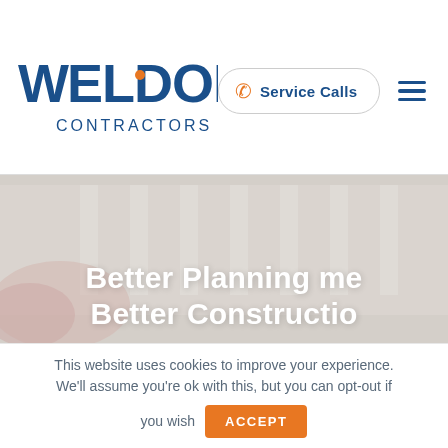[Figure (logo): Weldon Contractors logo — bold navy blue text with stylized letters]
Service Calls
[Figure (photo): Background photo of a white building facade with columns and pink flowering shrubs, overlaid with semi-transparent grey]
Better Planning me Better Constructio
This website uses cookies to improve your experience. We'll assume you're ok with this, but you can opt-out if you wish ACCEPT